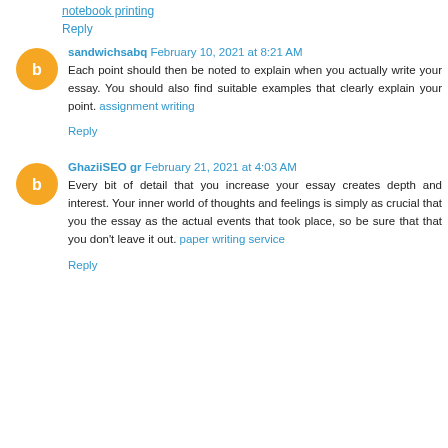notebook printing
Reply
sandwichsabq  February 10, 2021 at 8:21 AM
Each point should then be noted to explain when you actually write your essay. You should also find suitable examples that clearly explain your point. assignment writing
Reply
GhaziiSEO gr  February 21, 2021 at 4:03 AM
Every bit of detail that you increase your essay creates depth and interest. Your inner world of thoughts and feelings is simply as crucial that you the essay as the actual events that took place, so be sure that that you don't leave it out. paper writing service
Reply